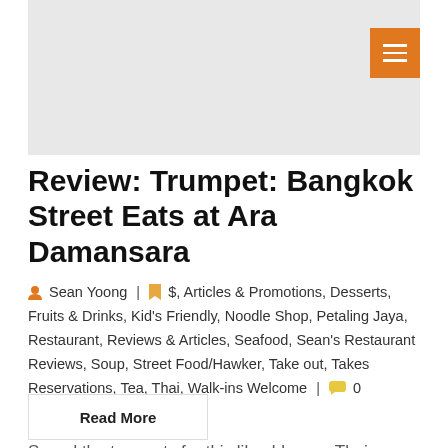[Figure (other): Gray header banner area with orange hamburger menu button in top-right corner]
Review: Trumpet: Bangkok Street Eats at Ara Damansara
Sean Yoong | $, Articles & Promotions, Desserts, Fruits & Drinks, Kid's Friendly, Noodle Shop, Petaling Jaya, Restaurant, Reviews & Articles, Seafood, Sean's Restaurant Reviews, Soup, Street Food/Hawker, Take out, Takes Reservations, Tea, Thai, Walk-ins Welcome | 0 Comment
Sound the trumpets for this likeable new Thai restaurant, which showcases the skills of chefs Sukmee &
Read More